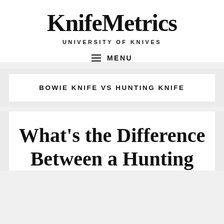KnifeMetrics
UNIVERSITY OF KNIVES
≡ MENU
BOWIE KNIFE VS HUNTING KNIFE
What's the Difference Between a Hunting